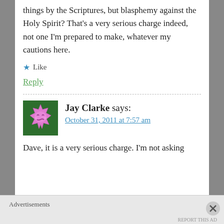things by the Scriptures, but blasphemy against the Holy Spirit? That's a very serious charge indeed, not one I'm prepared to make, whatever my cautions here.
★ Like
Reply
Jay Clarke says:
October 31, 2011 at 7:57 am
Dave, it is a very serious charge. I'm not asking
Advertisements